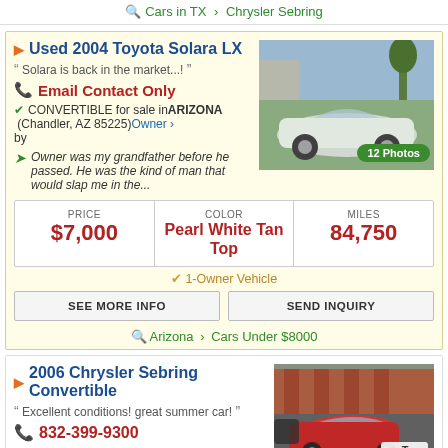Cars in TX > Chrysler Sebring
Used 2004 Toyota Solara LX
Solara is back in the market...!
Email Contact Only
CONVERTIBLE for sale in ARIZONA (Chandler, AZ 85225) by Owner
Owner was my grandfather before he passed. He was the kind of man that would slap me in the...
[Figure (photo): White Toyota Solara convertible parked outdoors, with 12 Photos badge]
| PRICE | COLOR | MILES |
| --- | --- | --- |
| $7,000 | Pearl White Tan Top | 84,750 |
1-Owner Vehicle
SEE MORE INFO | SEND INQUIRY
Arizona > Cars Under $8000
2006 Chrysler Sebring Convertible
Excellent conditions! great summer car!
832-399-9300
CONVERTIBLE for sale in TEXAS (8408 Highway 6 South
[Figure (photo): Red Chrysler Sebring convertible in parking lot]